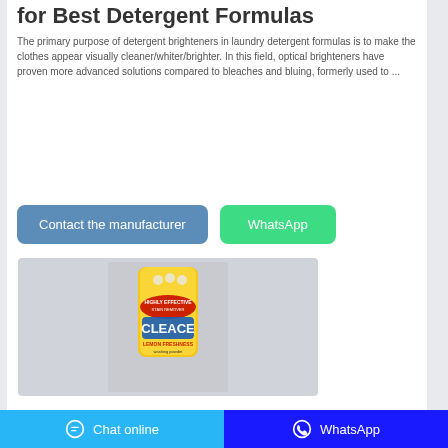for Best Detergent Formulas
The primary purpose of detergent brighteners in laundry detergent formulas is to make the clothes appear visually cleaner/whiter/brighter. In this field, optical brighteners have proven more advanced solutions compared to bleaches and bluing, formerly used to ...
Contact the manufacturer
WhatsApp
[Figure (photo): Product photo of a yellow detergent powder bag labeled CLEACE with lemon freshness branding]
Chat online | WhatsApp